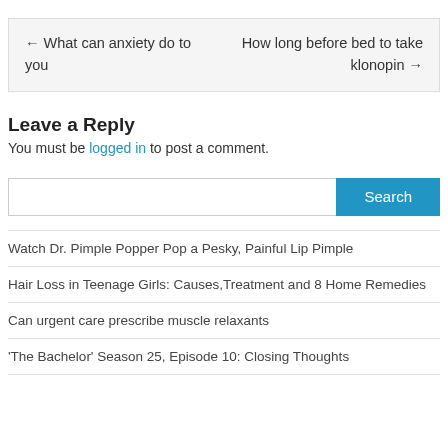← What can anxiety do to you   How long before bed to take klonopin →
Leave a Reply
You must be logged in to post a comment.
Search
Watch Dr. Pimple Popper Pop a Pesky, Painful Lip Pimple
Hair Loss in Teenage Girls: Causes,Treatment and 8 Home Remedies
Can urgent care prescribe muscle relaxants
'The Bachelor' Season 25, Episode 10: Closing Thoughts